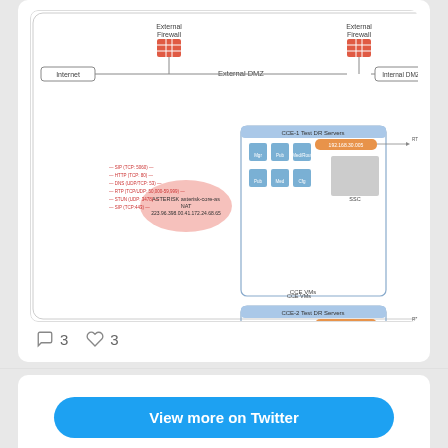[Figure (network-graph): Network diagram showing Internet, External Firewall, External DMZ, Internal DMZ with CCE VMs and SSC components, ASTERISK access core elements with IP addresses, and firewall connections between zones]
3  3
View more on Twitter
Learn more about privacy on Twitter
RSS FEEDS